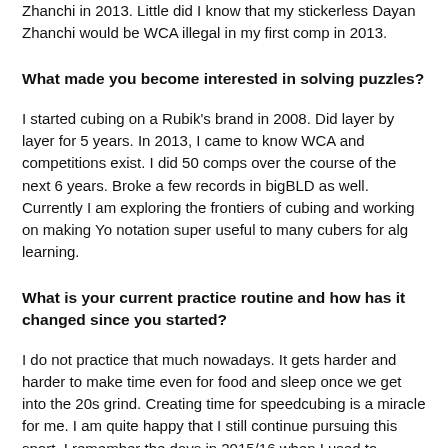Zhanchi in 2013. Little did I know that my stickerless Dayan Zhanchi would be WCA illegal in my first comp in 2013.
What made you become interested in solving puzzles?
I started cubing on a Rubik's brand in 2008. Did layer by layer for 5 years. In 2013, I came to know WCA and competitions exist. I did 50 comps over the course of the next 6 years. Broke a few records in bigBLD as well. Currently I am exploring the frontiers of cubing and working on making Yo notation super useful to many cubers for alg learning.
What is your current practice routine and how has it changed since you started?
I do not practice that much nowadays. It gets harder and harder to make time even for food and sleep once we get into the 20s grind. Creating time for speedcubing is a miracle for me. I am quite happy that I still continue pursuing this sport. I remember the days in 2015/16 when I used to practice 10+ hours a day as college classes were boring and hostel life was not that great. I miss those days when I could devote a lot of time to cubing. I hope I become well practised and in form in cubing sometime again.